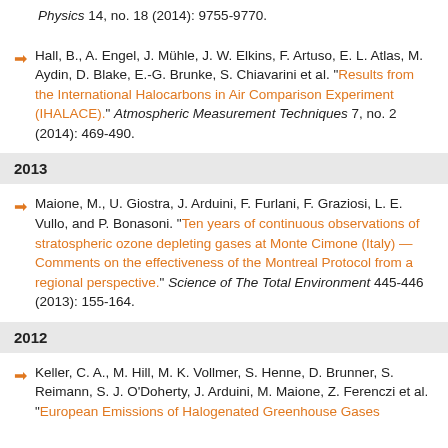Physics 14, no. 18 (2014): 9755-9770.
Hall, B., A. Engel, J. Mühle, J. W. Elkins, F. Artuso, E. L. Atlas, M. Aydin, D. Blake, E.-G. Brunke, S. Chiavarini et al. "Results from the International Halocarbons in Air Comparison Experiment (IHALACE)." Atmospheric Measurement Techniques 7, no. 2 (2014): 469-490.
2013
Maione, M., U. Giostra, J. Arduini, F. Furlani, F. Graziosi, L. E. Vullo, and P. Bonasoni. "Ten years of continuous observations of stratospheric ozone depleting gases at Monte Cimone (Italy) — Comments on the effectiveness of the Montreal Protocol from a regional perspective." Science of The Total Environment 445-446 (2013): 155-164.
2012
Keller, C. A., M. Hill, M. K. Vollmer, S. Henne, D. Brunner, S. Reimann, S. J. O'Doherty, J. Arduini, M. Maione, Z. Ferenczi et al. "European Emissions of Halogenated Greenhouse Gases